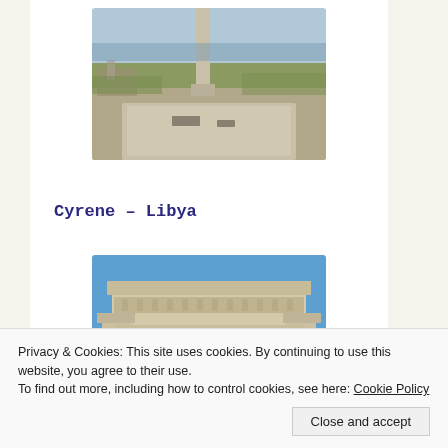[Figure (photo): Ancient ruins with stone column base in foreground and standing column in background, grassy landscape and sky visible]
Cyrene – Libya
[Figure (photo): Ancient Roman or Greek architectural entablature with ornate carved decorations against a blue sky]
Privacy & Cookies: This site uses cookies. By continuing to use this website, you agree to their use.
To find out more, including how to control cookies, see here: Cookie Policy
Close and accept